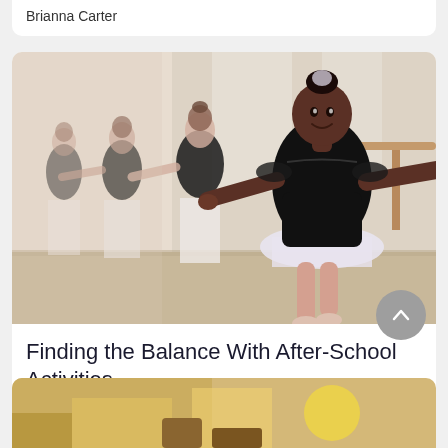Brianna Carter
[Figure (photo): Young ballet dancers in black leotards and white tutus practicing at the barre in a dance studio. A smiling Black girl is in the foreground with arms extended.]
Finding the Balance With After-School Activities
Child Mind Institute
[Figure (photo): Partial view of a second article image at the bottom of the page, appears to show a bright colorful scene.]